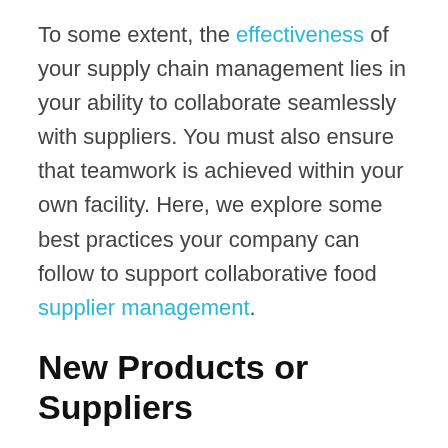To some extent, the effectiveness of your supply chain management lies in your ability to collaborate seamlessly with suppliers. You must also ensure that teamwork is achieved within your own facility. Here, we explore some best practices your company can follow to support collaborative food supplier management.
New Products or Suppliers
When new products are in development, make sure that all teams involved are working together to